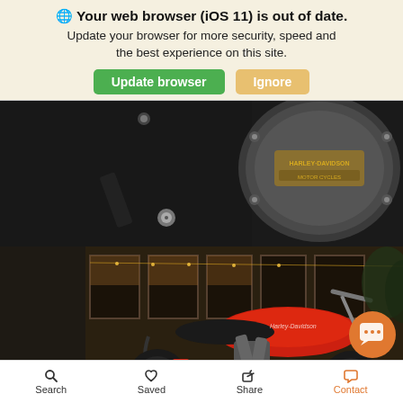🌐 Your web browser (iOS 11) is out of date. Update your browser for more security, speed and the best experience on this site.
Update browser | Ignore
[Figure (photo): Close-up of a Harley-Davidson motorcycle engine detail with logo badge on a circular chrome/metal cover and black components]
[Figure (photo): Red and black Harley-Davidson motorcycle parked in front of a building with large windows at night, illuminated by warm lights]
Search   Saved   Share   Contact